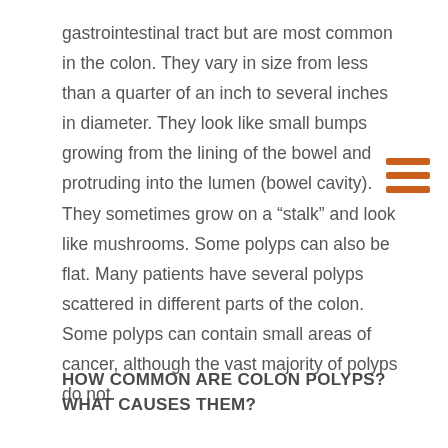gastrointestinal tract but are most common in the colon. They vary in size from less than a quarter of an inch to several inches in diameter. They look like small bumps growing from the lining of the bowel and protruding into the lumen (bowel cavity). They sometimes grow on a "stalk" and look like mushrooms. Some polyps can also be flat. Many patients have several polyps scattered in different parts of the colon. Some polyps can contain small areas of cancer, although the vast majority of polyps do not.
HOW COMMON ARE COLON POLYPS? WHAT CAUSES THEM?